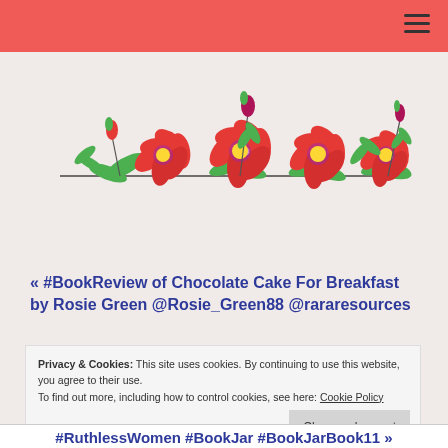[Figure (illustration): A decorative horizontal floral illustration showing several red poppy flowers with yellow centers and purple details, green stems and leaves, arranged in a garland/banner style on a beige/pink background.]
« #BookReview of Chocolate Cake For Breakfast by Rosie Green @Rosie_Green88 @rararesources
Privacy & Cookies: This site uses cookies. By continuing to use this website, you agree to their use.
To find out more, including how to control cookies, see here: Cookie Policy
Close and accept
#RuthlessWomen #BookJar #BookJarBook11 »